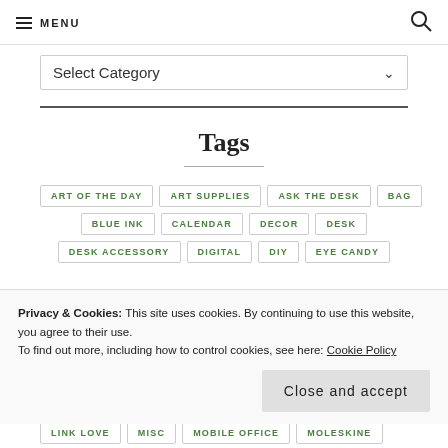MENU
Select Category
Tags
ART OF THE DAY
ART SUPPLIES
ASK THE DESK
BAG
BLUE INK
CALENDAR
DECOR
DESK
DESK ACCESSORY
DIGITAL
DIY
EYE CANDY
Privacy & Cookies: This site uses cookies. By continuing to use this website, you agree to their use. To find out more, including how to control cookies, see here: Cookie Policy
Close and accept
LINK LOVE
MISC
MOBILE OFFICE
MOLESKINE